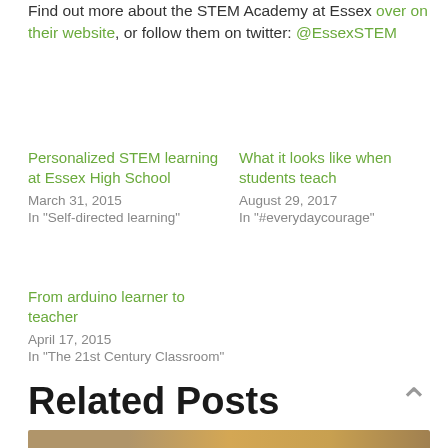Find out more about the STEM Academy at Essex over on their website, or follow them on twitter: @EssexSTEM
Personalized STEM learning at Essex High School
March 31, 2015
In "Self-directed learning"
What it looks like when students teach
August 29, 2017
In "#everydaycourage"
From arduino learner to teacher
April 17, 2015
In "The 21st Century Classroom"
Related Posts
[Figure (photo): Partial bottom strip of a photo, warm brown and gold tones]